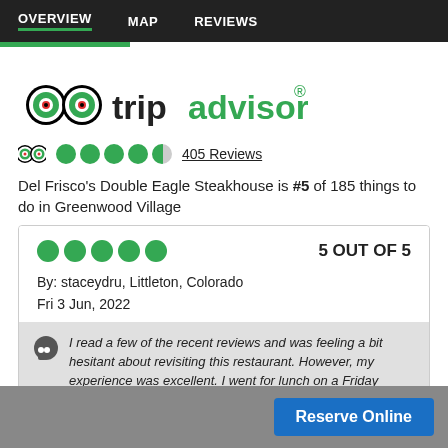OVERVIEW   MAP   REVIEWS
[Figure (logo): TripAdvisor owl logo with 'tripadvisor' text and registered trademark symbol]
405 Reviews (4.5 out of 5 stars rating)
Del Frisco's Double Eagle Steakhouse is #5 of 185 things to do in Greenwood Village
5 OUT OF 5 — By: staceydru, Littleton, Colorado — Fri 3 Jun, 2022 — I read a few of the recent reviews and was feeling a bit hesitant about revisiting this restaurant. However, my experience was excellent. I went for lunch on a Friday afternoon with my husband...